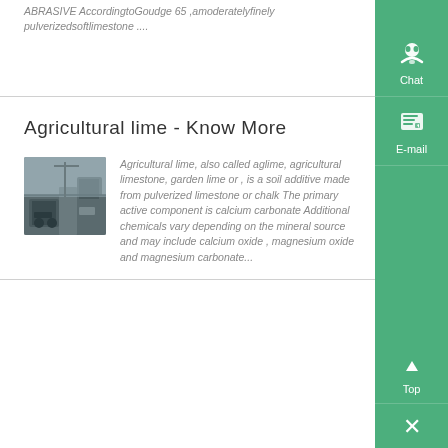ABRASIVE AccordingtoGoudge 65 ,amoderatelyfinely pulverizedsoftlimestone ....
Agricultural lime - Know More
[Figure (photo): Industrial/construction equipment photo thumbnail, dark tones]
Agricultural lime, also called aglime, agricultural limestone, garden lime or , is a soil additive made from pulverized limestone or chalk The primary active component is calcium carbonate Additional chemicals vary depending on the mineral source and may include calcium oxide , magnesium oxide and magnesium carbonate...